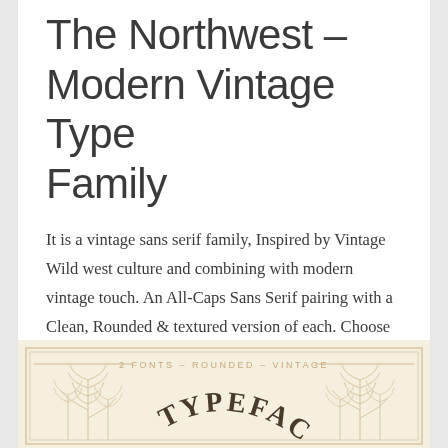The Northwest – Modern Vintage Type Family
It is a vintage sans serif family, Inspired by Vintage Wild west culture and combining with modern vintage touch. An All-Caps Sans Serif pairing with a Clean, Rounded & textured version of each. Choose between varying texture strength for your desired effect.
[Figure (illustration): Vintage typeface promotional image with decorative border, wheat/grain illustrations on sides, text reading '2 FONTS – ROUNDED – VINTAGE' at top, and arched text 'TYPEFACE' in the center in a vintage western style.]